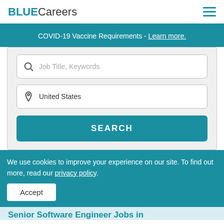BLUECareers
COVID-19 Vaccine Requirements - Learn more.
Job Title, Keywords
United States
SEARCH
We use cookies to improve your experience on our site. To find out more, read our privacy policy.
Accept
Senior Software Engineer Jobs in